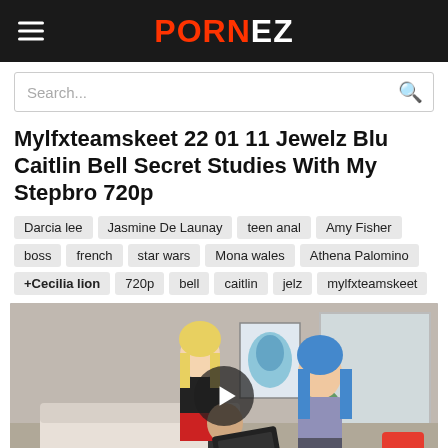PORNEZ
Search...
Mylfxteamskeet 22 01 11 Jewelz Blu Caitlin Bell Secret Studies With My Stepbro 720p
Darcia lee
Jasmine De Launay
teen anal
Amy Fisher
boss
french
star wars
Mona wales
Athena Palomino
+Cecilia lion
720p
bell
caitlin
jelz
mylfxteamskeet
[Figure (screenshot): Video thumbnail showing two women in a living room scene with a play button overlay]